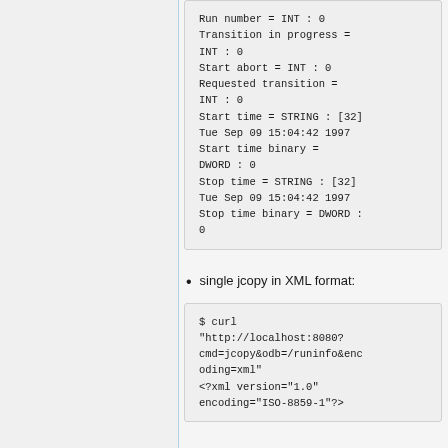Run number = INT : 0
Transition in progress = INT : 0
Start abort = INT : 0
Requested transition = INT : 0
Start time = STRING : [32]
Tue Sep 09 15:04:42 1997
Start time binary = DWORD : 0
Stop time = STRING : [32]
Tue Sep 09 15:04:42 1997
Stop time binary = DWORD : 0
single jcopy in XML format:
$ curl
"http://localhost:8080?cmd=jcopy&odb=/runinfo&encoding=xml"
<?xml version="1.0" encoding="ISO-8859-1"?>